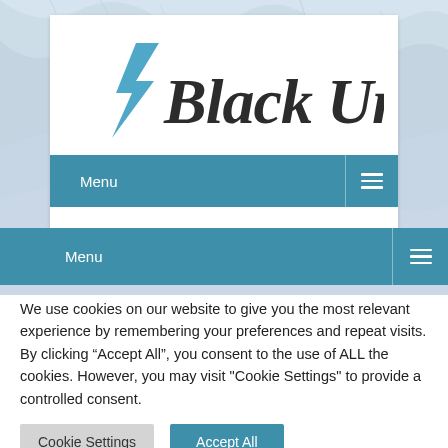[Figure (logo): Black Union logo with teal lightning bolt and cursive text]
Menu
Menu
We use cookies on our website to give you the most relevant experience by remembering your preferences and repeat visits. By clicking “Accept All”, you consent to the use of ALL the cookies. However, you may visit "Cookie Settings" to provide a controlled consent.